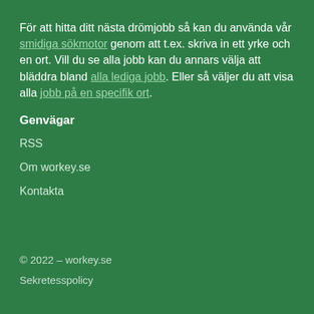För att hitta ditt nästa drömjobb så kan du använda vår smidiga sökmotor genom att t.ex. skriva in ett yrke och en ort. Vill du se alla jobb kan du annars välja att bläddra bland alla lediga jobb. Eller så väljer du att visa alla jobb på en specifik ort.
Genvägar
RSS
Om workey.se
Kontakta
© 2022 – workey.se
Sekretesspolicy